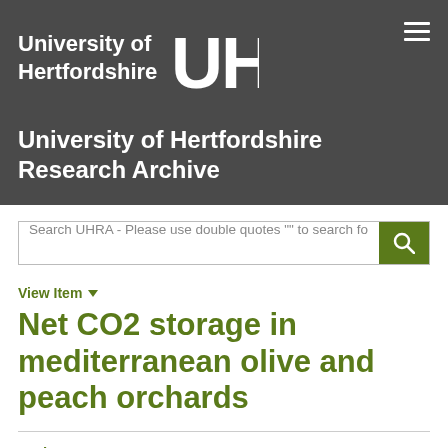[Figure (logo): University of Hertfordshire logo with UH monogram on dark grey background]
University of Hertfordshire Research Archive
Search UHRA - Please use double quotes "" to search fo
View Item ▾
Net CO2 storage in mediterranean olive and peach orchards
Author